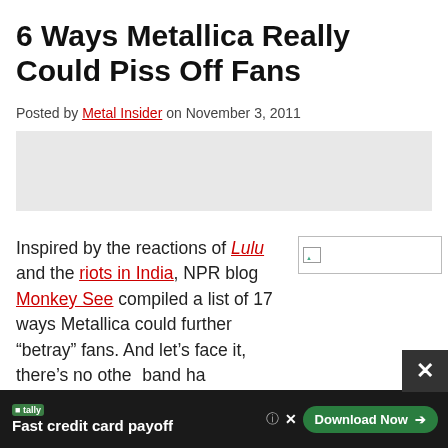6 Ways Metallica Really Could Piss Off Fans
Posted by Metal Insider on November 3, 2011
[Figure (other): Advertisement placeholder banner (gray rectangle)]
Inspired by the reactions of Lulu and the riots in India, NPR blog Monkey See compiled a list of 17 ways Metallica could further “betray” fans. And let’s face it, there’s no other band ha
[Figure (other): Broken image placeholder with small green triangle icon]
[Figure (other): Ad overlay: Tally - Fast credit card payoff, Download Now button; close X button]